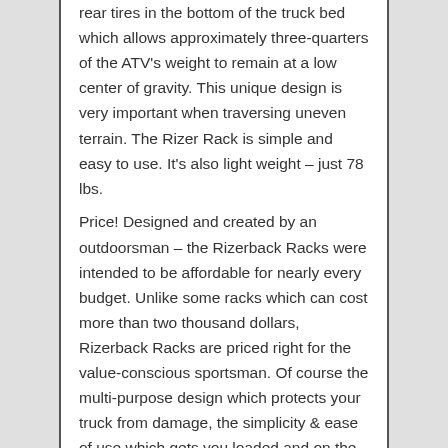rear tires in the bottom of the truck bed which allows approximately three-quarters of the ATV's weight to remain at a low center of gravity. This unique design is very important when traversing uneven terrain. The Rizer Rack is simple and easy to use. It's also light weight – just 78 lbs.
Price! Designed and created by an outdoorsman – the Rizerback Racks were intended to be affordable for nearly every budget. Unlike some racks which can cost more than two thousand dollars, Rizerback Racks are priced right for the value-conscious sportsman. Of course the multi-purpose design which protects your truck from damage, the simplicity & ease of use which gets you loaded and on the road quickly, are all part of the